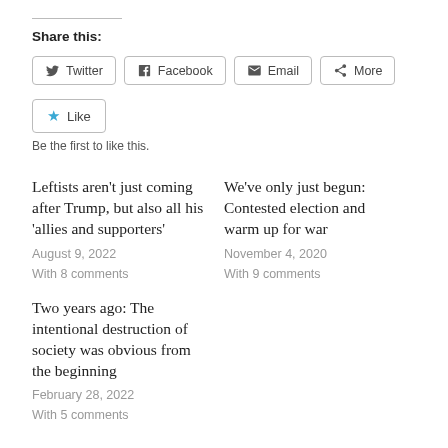Share this:
[Figure (screenshot): Share buttons: Twitter, Facebook, Email, More]
[Figure (screenshot): Like button with star icon]
Be the first to like this.
Leftists aren't just coming after Trump, but also all his 'allies and supporters'
August 9, 2022
With 8 comments
We've only just begun: Contested election and warm up for war
November 4, 2020
With 9 comments
Two years ago: The intentional destruction of society was obvious from the beginning
February 28, 2022
With 5 comments